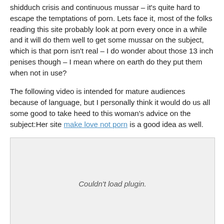shidduch crisis and continuous mussar – it's quite hard to escape the temptations of porn. Lets face it, most of the folks reading this site probably look at porn every once in a while and it will do them well to get some mussar on the subject, which is that porn isn't real – I do wonder about those 13 inch penises though – I mean where on earth do they put them when not in use?
The following video is intended for mature audiences because of language, but I personally think it would do us all some good to take heed to this woman's advice on the subject:Her site make love not porn is a good idea as well.
[Figure (other): Embedded video plugin area showing 'Couldn't load plugin.' message]